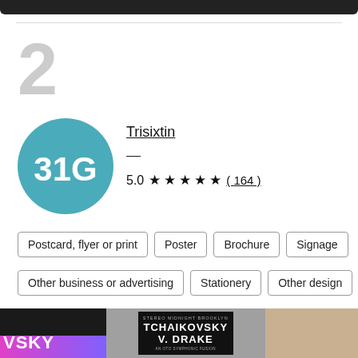2
[Figure (logo): Trisixtin seller logo: teal circle with white text '31G']
Trisixtin
5.0 ★★★★★ (164)
Postcard, flyer or print
Poster
Brochure
Signage
Other business or advertising
Stationery
Other design
[Figure (photo): Portfolio images strip: dark background with 'VSKY' text and pink/purple gradient at bottom; gray background with black poster showing 'TCHAIKOVSKY V. DRAKE'; partial warm-toned image on right]